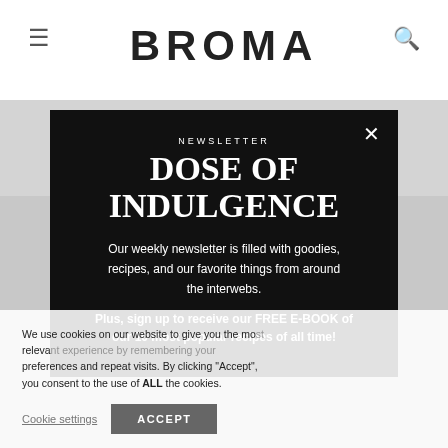BROMA
1. Grease a large casserole dish with butter. Set aside.
[Figure (screenshot): Newsletter popup modal on dark background with title 'DOSE OF INDULGENCE', newsletter label, body text about weekly newsletter, free e-book promo, and close button]
We use cookies on our website to give you the most relevant experience by remembering your preferences and repeat visits. By clicking "Accept", you consent to the use of ALL the cookies.
Cookie settings   ACCEPT